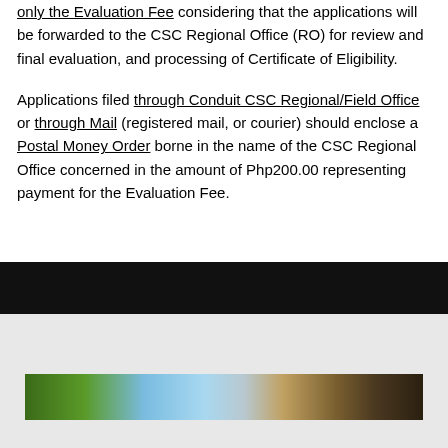only the Evaluation Fee considering that the applications will be forwarded to the CSC Regional Office (RO) for review and final evaluation, and processing of Certificate of Eligibility.
Applications filed through Conduit CSC Regional/Field Office or through Mail (registered mail, or courier) should enclose a Postal Money Order borne in the name of the CSC Regional Office concerned in the amount of Php200.00 representing payment for the Evaluation Fee.
[Figure (photo): A narrow horizontal photo strip showing outdoor scenery with trees and sky, positioned near the bottom of the page on a gray background.]